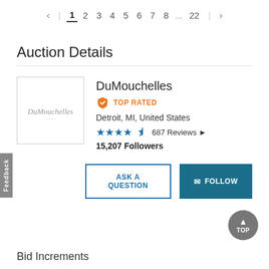< | 1 2 3 4 5 6 7 8 ... 22 | >
Auction Details
[Figure (logo): DuMouchelles auction house logo in cursive script]
DuMouchelles
TOP RATED
Detroit, MI, United States
★★★★½  687 Reviews
15,207 Followers
ASK A QUESTION   FOLLOW
Bid Increments